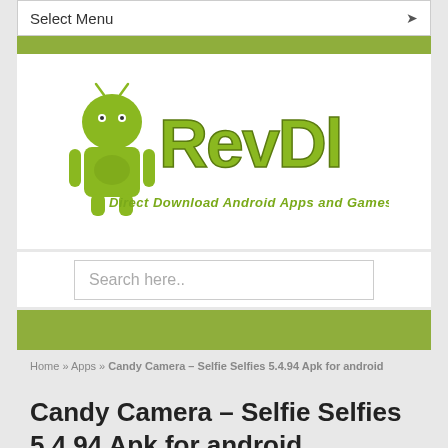Select Menu
[Figure (logo): RevDl logo with Android mascot and tagline: Direct Download Android Apps and Games]
Search here..
Home » Apps » Candy Camera – Selfie Selfies 5.4.94 Apk for android
Candy Camera – Selfie Selfies 5.4.94 Apk for android